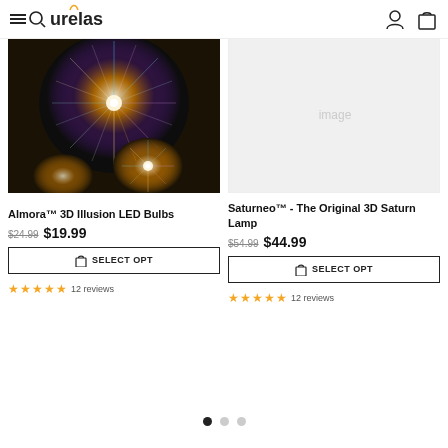urelas
[Figure (photo): Almora 3D Illusion LED Bulbs product photo - glowing spherical bulbs with colorful firework/starburst pattern visible in dark setting]
Almora™ 3D Illusion LED Bulbs
$24.99 $19.99
SELECT OPT
12 reviews
Saturneo™ - The Original 3D Saturn Lamp
$54.99 $44.99
SELECT OPT
12 reviews